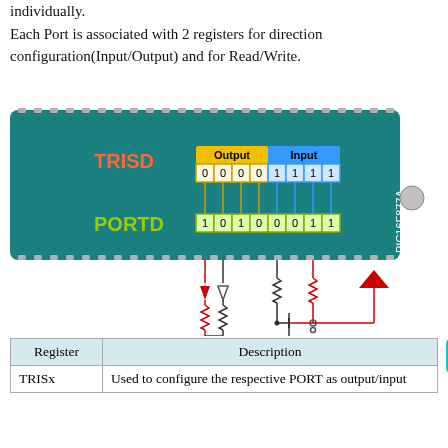they can still be configured and accessed individually.
Each Port is associated with 2 registers for direction configuration(Input/Output) and for Read/Write.
[Figure (engineering-diagram): PIC16F877A microcontroller diagram showing TRISD register (Output bits 0,0,0,0 and Input bits 1,1,1,1) and PORTD register (bits 1,0,1,0,0,0,1,1) with connections to output LEDs/drivers (red and white triangles with resistors) on the left and input components (switch, resistors) in the middle-right, with a red LED indicator on the far right. The chip is labeled PIC16F877A vertically on the right side.]
| Register | Description |
| --- | --- |
| TRISx | Used to configure the respective PORT as output/input |